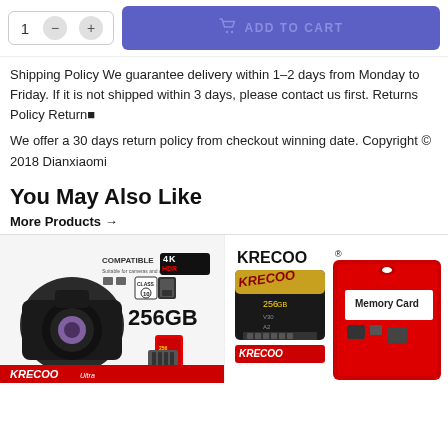[Figure (screenshot): Quantity selector with minus and plus buttons showing '1', and a purple 'Add to Cart' button with cart icon]
Shipping Policy We guarantee delivery within 1-2 days from Monday to Friday. If it is not shipped within 3 days, please contact us first. Returns Policy Returnâ¢
We offer a 30 days return policy from checkout winning date. Copyright © 2018 Dianxiaomi
You May Also Like
More Products →
[Figure (photo): KRECOO Ultra 256GB Class 10 4K HDR compatible micro SD memory card product image showing camera compatibility]
[Figure (photo): KRECOO brand 256GB micro SD memory card with packaging showing Memory Card label]